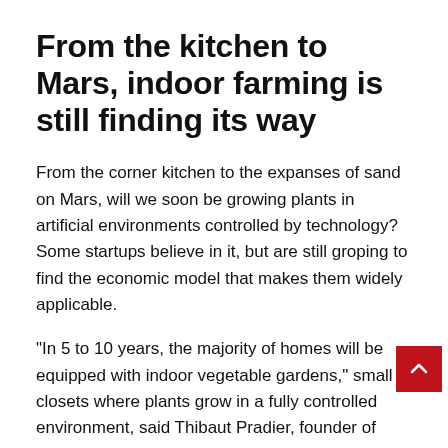From the kitchen to Mars, indoor farming is still finding its way
From the corner kitchen to the expanses of sand on Mars, will we soon be growing plants in artificial environments controlled by technology? Some startups believe in it, but are still groping to find the economic model that makes them widely applicable.
“In 5 to 10 years, the majority of homes will be equipped with indoor vegetable gardens,” small closets where plants grow in a fully controlled environment, said Thibaut Pradier, founder of Start, this week at VivaT in Paris. – Above “La Grangate”.
Once the consumer is equipped with a vegetable garden, this can...